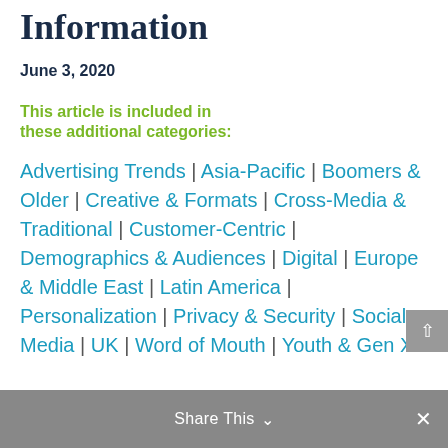Information
June 3, 2020
This article is included in these additional categories:
Advertising Trends | Asia-Pacific | Boomers & Older | Creative & Formats | Cross-Media & Traditional | Customer-Centric | Demographics & Audiences | Digital | Europe & Middle East | Latin America | Personalization | Privacy & Security | Social Media | UK | Word of Mouth | Youth & Gen X
Share This